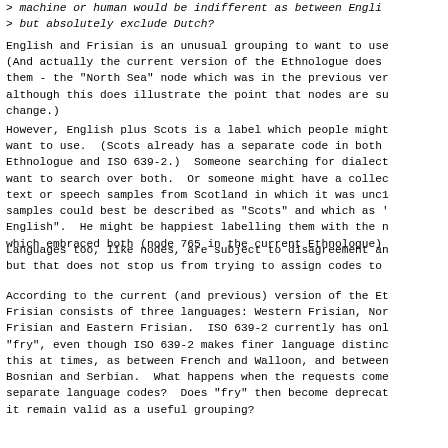> machine or human would be indifferent as between English
> but absolutely exclude Dutch?
English and Frisian is an unusual grouping to want to use (And actually the current version of the Ethnologue does them - the "North Sea" node which was in the previous ver although this does illustrate the point that nodes are su change.)
However, English plus Scots is a label which people might want to use. (Scots already has a separate code in both Ethnologue and ISO 639-2.) Someone searching for dialect want to search over both. Or someone might have a collec text or speech samples from Scotland in which it was unc samples could best be described as "Scots" and which as English". He might be happiest labelling them with the n which embraced both (node 765 in the current Ethnologue)
Languages too, like nodes, are subject to disagreement an but that does not stop us from trying to assign codes to
According to the current (and previous) version of the E Frisian consists of three languages: Western Frisian, No Frisian and Eastern Frisian. ISO 639-2 currently has on "fry", even though ISO 639-2 makes finer language distine this at times, as between French and Walloon, and betwee Bosnian and Serbian. What happens when the requests come separate language codes? Does "fry" then become deprecat it remain valid as a useful grouping?